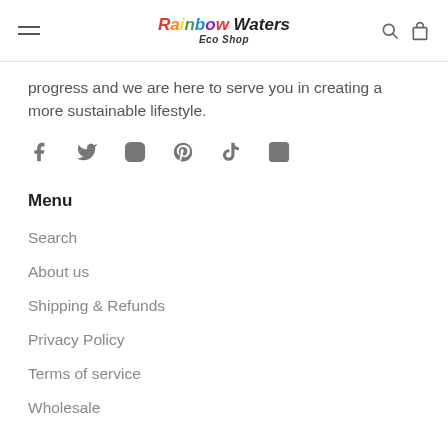Rainbow Waters Eco Shop
progress and we are here to serve you in creating a more sustainable lifestyle.
[Figure (other): Social media icons: Facebook, Twitter, Instagram, Pinterest, TikTok, LinkedIn]
Menu
Search
About us
Shipping & Refunds
Privacy Policy
Terms of service
Wholesale